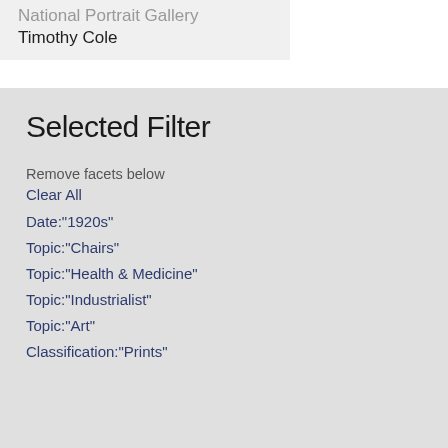National Portrait Gallery
Timothy Cole
Selected Filter
Remove facets below
Clear All
Date:"1920s"
Topic:"Chairs"
Topic:"Health & Medicine"
Topic:"Industrialist"
Topic:"Art"
Classification:"Prints"